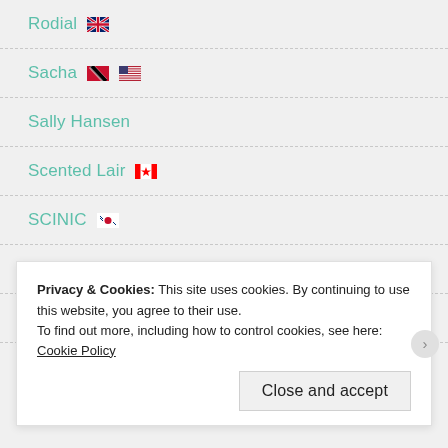Rodial 🇬🇧
Sacha 🇹🇹🇺🇸
Sally Hansen
Scented Lair 🇨🇦
SCINIC 🇰🇷
Sephora 🇫🇷
Shiseido 🇯🇵
Privacy & Cookies: This site uses cookies. By continuing to use this website, you agree to their use.
To find out more, including how to control cookies, see here: Cookie Policy
Close and accept